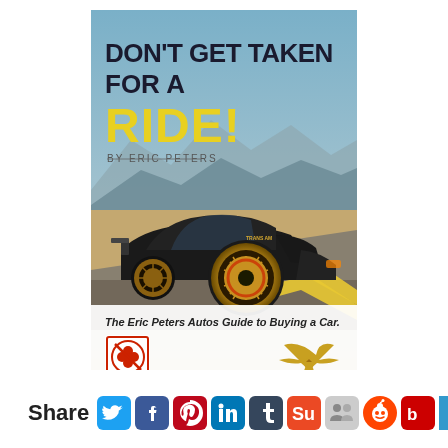[Figure (illustration): Book cover for 'Don't Get Taken For a RIDE!' by Eric Peters. Shows a black muscle car (Trans Am) on a desert highway with mountains in background. Title text in dark bold sans-serif, 'RIDE!' in yellow. Subtitle: 'The Eric Peters Autos Guide to Buying a Car.' with a four-leaf clover logo and a phoenix/bird logo at the bottom.]
Share